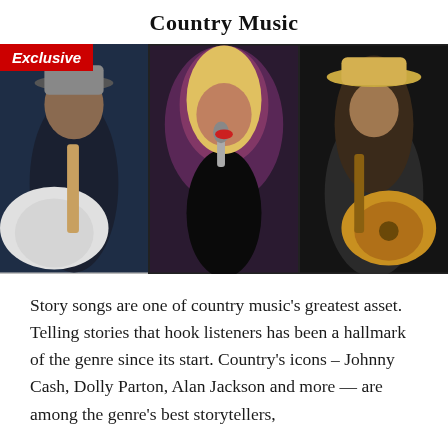Country Music
[Figure (photo): Three-panel photo strip showing country music artists: left panel shows a guitarist in dark shirt playing a white guitar with 'Exclusive' badge overlay; center panel shows a blonde female singer in black dress holding a microphone; right panel shows a bearded male guitarist with long hair wearing a cowboy hat and playing a yellow guitar.]
Story songs are one of country music's greatest asset. Telling stories that hook listeners has been a hallmark of the genre since its start. Country's icons – Johnny Cash, Dolly Parton, Alan Jackson and more — are among the genre's best storytellers,